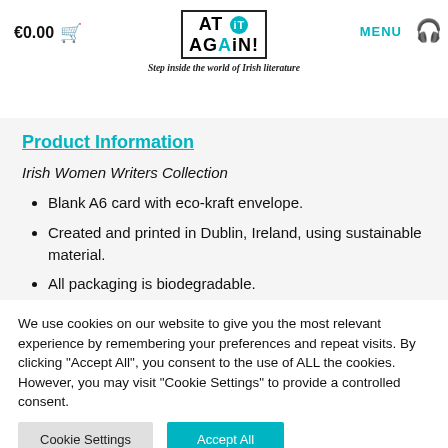€0.00  AT iT AGAiN!  Step inside the world of Irish literature  MENU
Product Information
Irish Women Writers Collection
Blank A6 card with eco-kraft envelope.
Created and printed in Dublin, Ireland, using sustainable material.
All packaging is biodegradable.
Also available as part of the Irish Women Writers Card Set.
We use cookies on our website to give you the most relevant experience by remembering your preferences and repeat visits. By clicking "Accept All", you consent to the use of ALL the cookies. However, you may visit "Cookie Settings" to provide a controlled consent.
Cookie Settings  Accept All